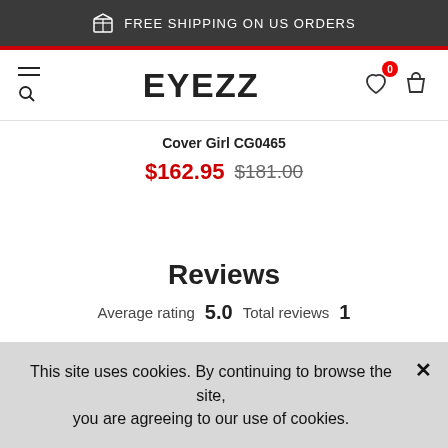FREE SHIPPING ON US ORDERS
EYEZZ
Cover Girl CG0465
$162.95  $181.00
Reviews
Average rating  5.0   Total reviews  1
This site uses cookies. By continuing to browse the site, you are agreeing to our use of cookies.